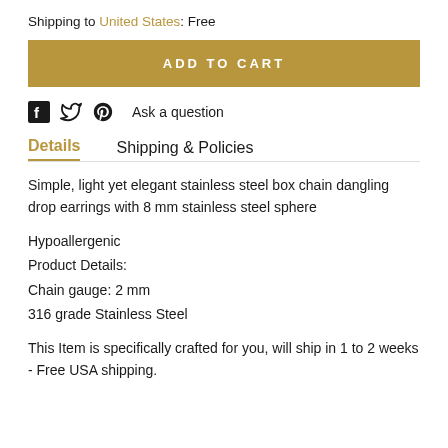Shipping to United States: Free
ADD TO CART
[Figure (other): Social media icons row: Facebook, Twitter, Pinterest icons followed by 'Ask a question' text link]
Details   Shipping & Policies
Simple, light yet elegant stainless steel box chain dangling drop earrings with 8 mm stainless steel sphere
Hypoallergenic
Product Details:
Chain gauge: 2 mm
316 grade Stainless Steel
This Item is specifically crafted for you, will ship in 1 to 2 weeks - Free USA shipping.